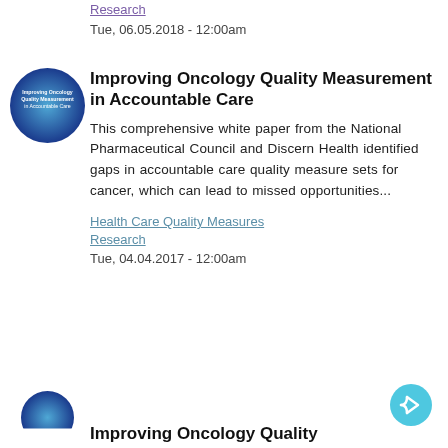Research
Tue, 06.05.2018 - 12:00am
[Figure (logo): Circular blue gradient logo with text 'Improving Oncology Quality Measurement in Accountable Care']
Improving Oncology Quality Measurement in Accountable Care
This comprehensive white paper from the National Pharmaceutical Council and Discern Health identified gaps in accountable care quality measure sets for cancer, which can lead to missed opportunities...
Health Care Quality Measures
Research
Tue, 04.04.2017 - 12:00am
[Figure (logo): Partial circular logo at bottom left, partially cropped]
Improving Oncology Quality